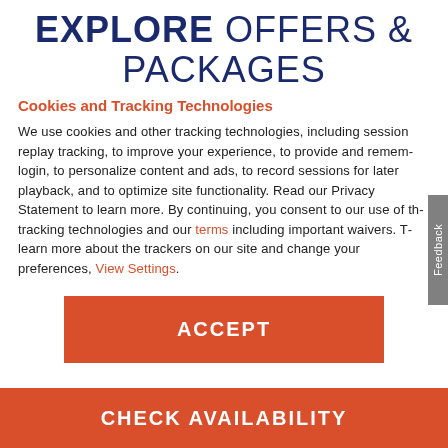EXPLORE OFFERS & PACKAGES
Cookies and Tracking Technologies
We use cookies and other tracking technologies, including session replay tracking, to improve your experience, to provide and remember login, to personalize content and ads, to record sessions for later playback, and to optimize site functionality. Read our Privacy Statement to learn more. By continuing, you consent to our use of these tracking technologies and our terms including important waivers. To learn more about the trackers on our site and change your preferences, View Settings.
ACCEPT
CHECK AVAILABILITY